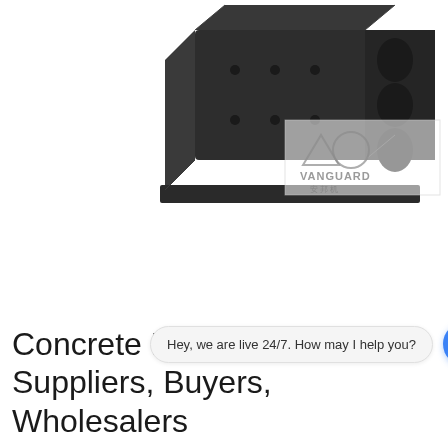[Figure (photo): Dark grey industrial machine (likely a concrete pulverizer or crusher) photographed from above at an angle, with a watermark logo reading 'VANGUARD / 安邦机' overlaid in the lower-right corner of the machine image.]
Hey, we are live 24/7. How may I help you?
Concrete Pun... Suppliers, Buyers, Wholesalers